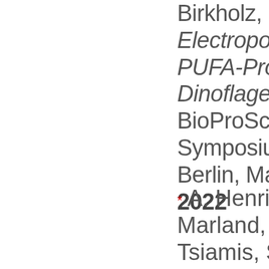Birkholz, Electroporation of PUFA-Producing Dinoflagellate, 7 BioProScale Symposium 2022 Berlin, March 2022
* A. Henriksson, J. Marland, A. Tsiamis, S. Smith, M. Birkholz, System